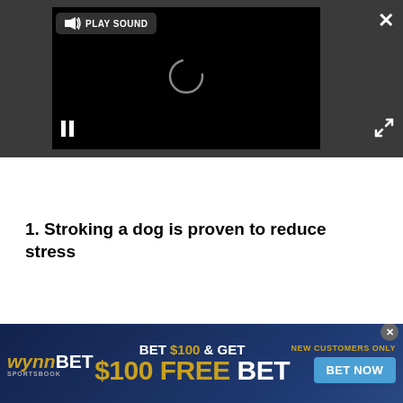[Figure (screenshot): Video player with dark gray background overlay. Black video area with a loading spinner in center and pause icon at bottom left. Play Sound button at top left. Close (X) button at top right. Expand/fullscreen button at bottom right.]
1. Stroking a dog is proven to reduce stress
[Figure (screenshot): WynnBET Sportsbook advertisement banner. Dark blue background. Left: WynnBET Sportsbook logo in gold/white italic. Center: 'BET $100 & GET' in white/gold, '$100 FREE BET' in large gold letters. Right: 'NEW CUSTOMERS ONLY' in gold, 'BET NOW' button in blue.]